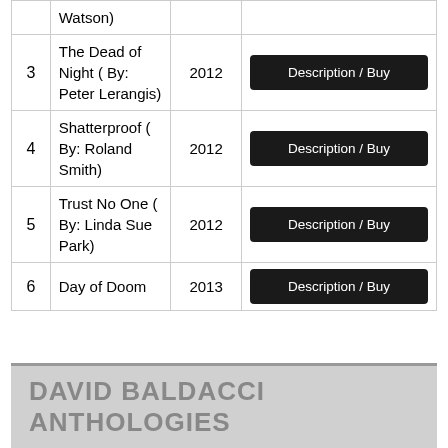| # | Title | Year | Action |
| --- | --- | --- | --- |
|  | Watson) |  |  |
| 3 | The Dead of Night ( By: Peter Lerangis) | 2012 | Description / Buy |
| 4 | Shatterproof ( By: Roland Smith) | 2012 | Description / Buy |
| 5 | Trust No One ( By: Linda Sue Park) | 2012 | Description / Buy |
| 6 | Day of Doom | 2013 | Description / Buy |
DAVID BALDACCI ANTHOLOGIES